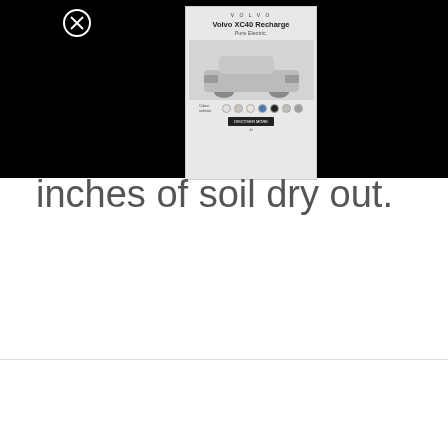[Figure (screenshot): A Volvo advertisement showing a Volvo XC40 Recharge Pure Electric car with color selector swatches and a call-to-action button, overlaid on a black background with a close (X) button in the upper left]
inches of soil dry out.